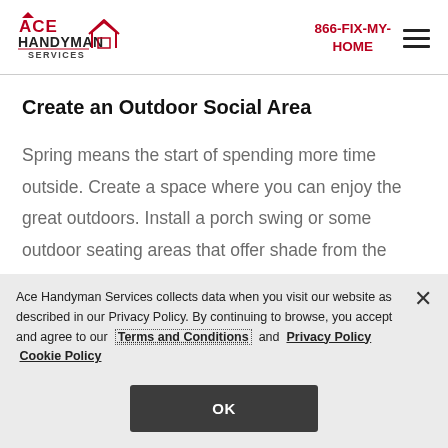[Figure (logo): Ace Handyman Services logo with red triangle and house outline]
866-FIX-MY-HOME
Create an Outdoor Social Area
Spring means the start of spending more time outside. Create a space where you can enjoy the great outdoors. Install a porch swing or some outdoor seating areas that offer shade from the summer sun.
Ace Handyman Services collects data when you visit our website as described in our Privacy Policy. By continuing to browse, you accept and agree to our Terms and Conditions and Privacy Policy Cookie Policy
OK